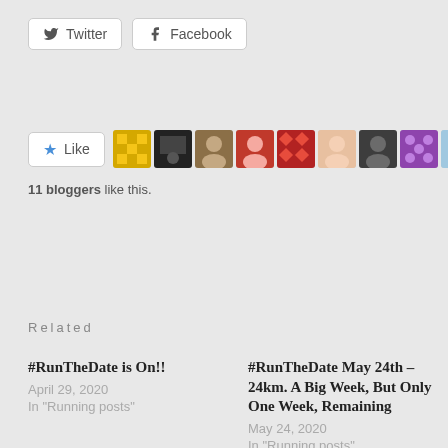[Figure (other): Twitter and Facebook share buttons]
[Figure (other): Like button with star icon and 10 blogger avatar thumbnails]
11 bloggers like this.
Related
#RunTheDate is On!!
April 29, 2020
In "Running posts"
#RunTheDate May 24th – 24km. A Big Week, But Only One Week, Remaining
May 24, 2020
In "Running posts"
#RunTheDate May 30th – 30km. First Ever 100-Mile Week Done
May 30, 2020
In "Running posts"